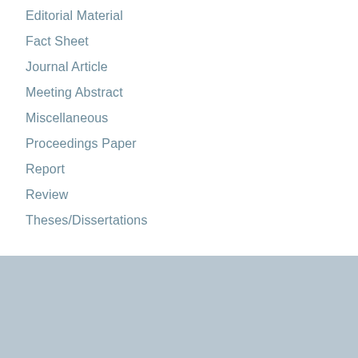Editorial Material
Fact Sheet
Journal Article
Meeting Abstract
Miscellaneous
Proceedings Paper
Report
Review
Theses/Dissertations